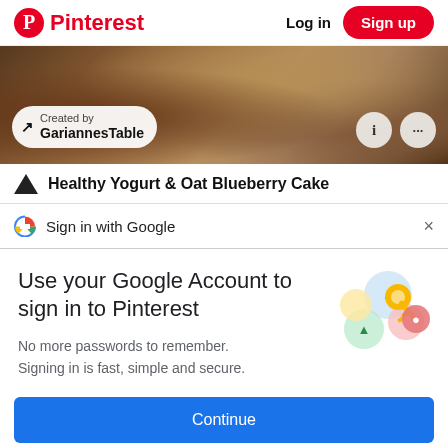Pinterest  Log in  Sign up
[Figure (photo): Food photo banner showing coffee and baked goods with a 'Created by GariannesTable' pill overlay and two icon buttons (info and more).]
Healthy Yogurt & Oat Blueberry Cake
Sign in with Google
Use your Google Account to sign in to Pinterest
No more passwords to remember. Signing in is fast, simple and secure.
[Figure (illustration): Google sign-in key illustration with colorful circles and a golden key icon.]
Continue